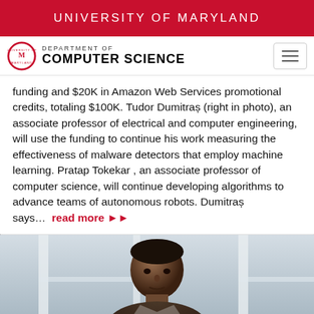UNIVERSITY OF MARYLAND
[Figure (logo): University of Maryland Department of Computer Science logo with UMD seal and navigation hamburger button]
funding and $20K in Amazon Web Services promotional credits, totaling $100K. Tudor Dumitraș (right in photo), an associate professor of electrical and computer engineering, will use the funding to continue his work measuring the effectiveness of malware detectors that employ machine learning. Pratap Tokekar , an associate professor of computer science, will continue developing algorithms to advance teams of autonomous robots. Dumitraș says... read more ▶▶
[Figure (photo): Portrait photo of a person (Pratap Tokekar) in an indoor setting with windows in the background]